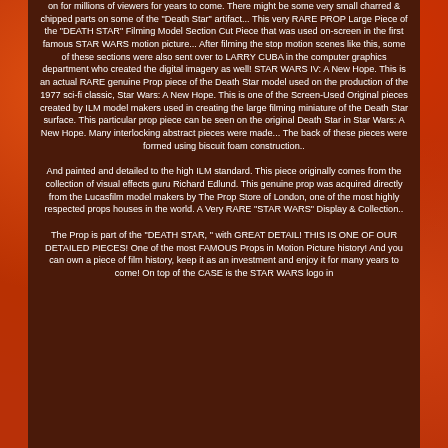on for millions of viewers for years to come. There might be some very small charred & chipped parts on some of the "Death Star" artifact... This very RARE PROP Large Piece of the "DEATH STAR" Filming Model Section Cut Piece that was used on-screen in the first famous STAR WARS motion picture... After filming the stop motion scenes like this, some of these sections were also sent over to LARRY CUBA in the computer graphics department who created the digital imagery as well! STAR WARS IV: A New Hope. This is an actual RARE genuine Prop piece of the Death Star model used on the production of the 1977 sci-fi classic, Star Wars: A New Hope. This is one of the Screen-Used Original pieces created by ILM model makers used in creating the large filming miniature of the Death Star surface. This particular prop piece can be seen on the original Death Star in Star Wars: A New Hope. Many interlocking abstract pieces were made... The back of these pieces were formed using biscuit foam construction..
And painted and detailed to the high ILM standard. This piece originally comes from the collection of visual effects guru Richard Edlund. This genuine prop was acquired directly from the Lucasfilm model makers by The Prop Store of London, one of the most highly respected props houses in the world. A Very RARE "STAR WARS" Display & Collection..
The Prop is part of the "DEATH STAR, " with GREAT DETAIL! THIS IS ONE OF OUR DETAILED PIECES! One of the most FAMOUS Props in Motion Picture history! And you can own a piece of film history, keep it as an investment and enjoy it for many years to come! On top of the CASE is the STAR WARS logo in